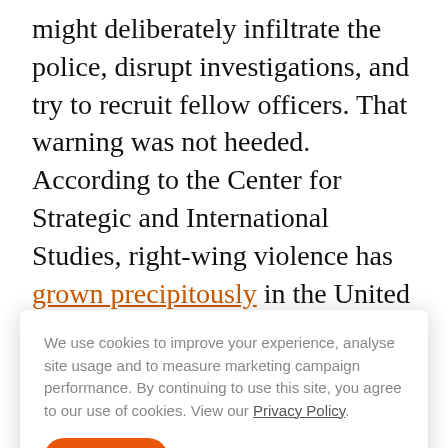might deliberately infiltrate the police, disrupt investigations, and try to recruit fellow officers. That warning was not heeded. According to the Center for Strategic and International Studies, right-wing violence has grown precipitously in the United States in the last six years, accounting for the great majority of known terrorist plots and attacks in the country. U.S. officials...
We use cookies to improve your experience, analyse site usage and to measure marketing campaign performance. By continuing to use this site, you agree to our use of cookies. View our Privacy Policy.
GERMAN REVELATIONS